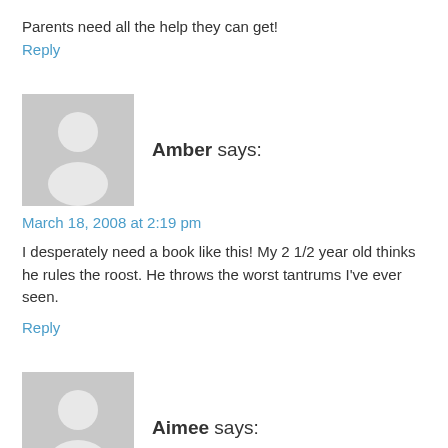Parents need all the help they can get!
Reply
[Figure (illustration): Gray placeholder avatar icon for user Amber]
Amber says:
March 18, 2008 at 2:19 pm
I desperately need a book like this! My 2 1/2 year old thinks he rules the roost. He throws the worst tantrums I've ever seen.
Reply
[Figure (illustration): Gray placeholder avatar icon for user Aimee]
Aimee says: